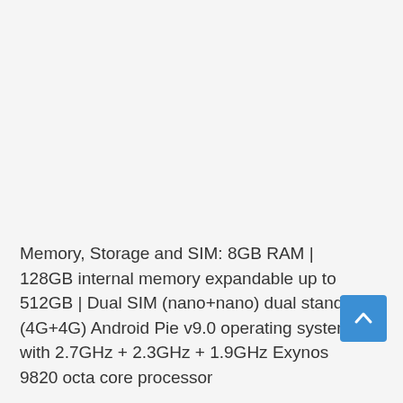Memory, Storage and SIM: 8GB RAM | 128GB internal memory expandable up to 512GB | Dual SIM (nano+nano) dual stand by (4G+4G) Android Pie v9.0 operating system with 2.7GHz + 2.3GHz + 1.9GHz Exynos 9820 octa core processor
3400mAH lithium-ion battery. The large, notch-free